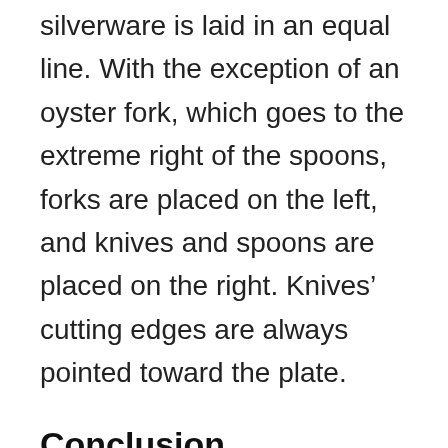silverware is laid in an equal line. With the exception of an oyster fork, which goes to the extreme right of the spoons, forks are placed on the left, and knives and spoons are placed on the right. Knives’ cutting edges are always pointed toward the plate.
Conclusion
When it comes to table setting etiquette, there are several long-standing norms. Some fine dining